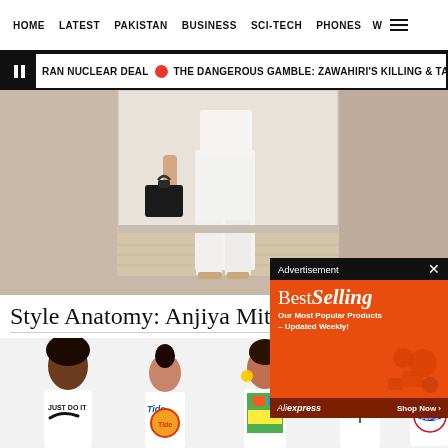HOME  LATEST  PAKISTAN  BUSINESS  SCI-TECH  PHONES  W  ☰
RAN NUCLEAR DEAL  •  THE DANGEROUS GAMBLE: ZAWAHIRI'S KILLING & TALIBANS
[Figure (photo): Fashion photo showing lower body of person in white wide-leg trousers holding a black handbag, standing on wood floor against beige/white wall]
Style Anatomy: Anjiya Mitha
[Figure (photo): Group of young people wearing graphic t-shirts including Nike 'Just Do It', Tide detergent brand tee, colorful graphic tees, and Pepsi branded tee]
[Figure (infographic): AliExpress advertisement - Best Selling: Our Most Popular Products – Updated Weekly! Shop Now button. Orange background with product icons.]